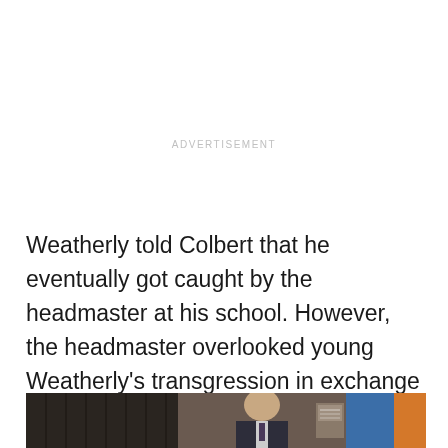ADVERTISEMENT
Weatherly told Colbert that he eventually got caught by the headmaster at his school. However, the headmaster overlooked young Weatherly's transgression in exchange for a few Swiss Army knives.
[Figure (photo): A TV talk show set scene showing a man in a suit, with decorative curtains on the left and colorful background panels (blue and orange) on the right.]